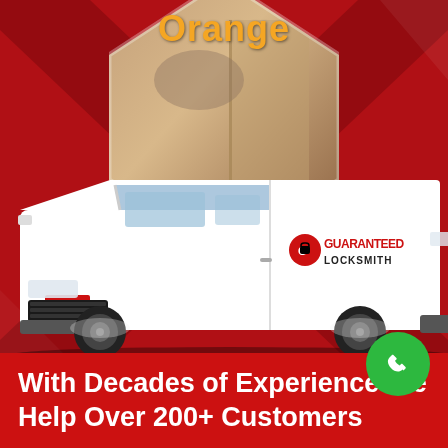Orange
[Figure (photo): White GMC Savana cargo van with 'Guaranteed Locksmith' logo on the side panel, on a red background]
With Decades of Experience We Help Over 200+ Customers